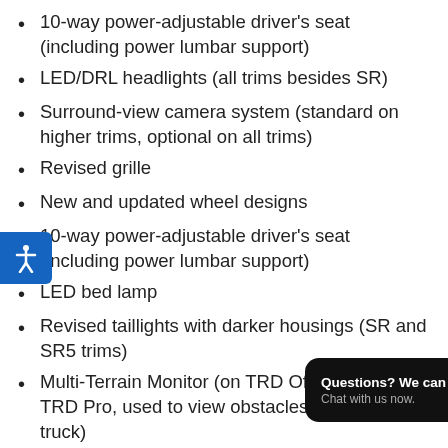10-way power-adjustable driver's seat (including power lumbar support)
LED/DRL headlights (all trims besides SR)
Surround-view camera system (standard on higher trims, optional on all trims)
Revised grille
New and updated wheel designs
10-way power-adjustable driver's seat (including power lumbar support)
LED bed lamp
Revised taillights with darker housings (SR and SR5 trims)
Multi-Terrain Monitor (on TRD Off-Road and TRD Pro, used to view obstacles under the truck)
Panoramic View Monitor (or PVM, which supplements front, side, and rear angles
Toyota Smart Key passive entry now works on